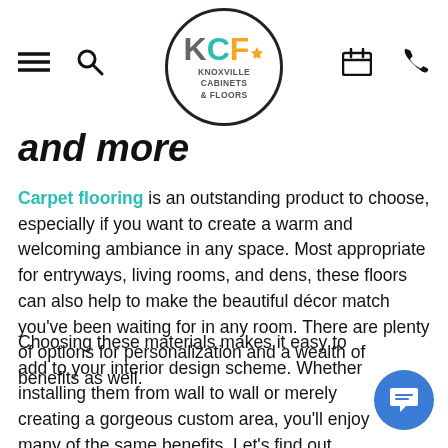KCF Knoxville Cabinets & Floors — navigation header with menu, search, logo, calendar, phone icons
and more
Carpet flooring is an outstanding product to choose, especially if you want to create a warm and welcoming ambiance in any space. Most appropriate for entryways, living rooms, and dens, these floors can also help to make the beautiful décor match you've been waiting for in any room. There are plenty of options for personalization and a wealth of benefits as well.
Choosing these materials makes it easy to add to your interior design scheme. Whether installing them from wall to wall or merely creating a gorgeous custom area, you'll enjoy many of the same benefits. Let's find out more about what they can do for you.